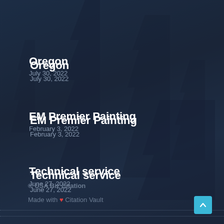Oregon
July 30, 2022
EM Premier Painting
February 3, 2022
Technical service
June 27, 2022
© USA Biz Citation
Made with ❤ Citation Vault